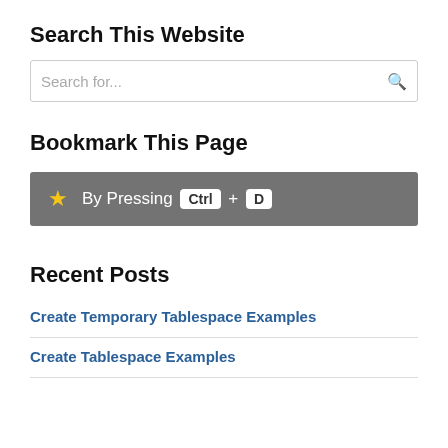Search This Website
[Figure (screenshot): Search input box with placeholder text 'Search for...' and a search icon on the right]
Bookmark This Page
[Figure (infographic): Gray bar with yellow star icon and text 'By Pressing Ctrl + D' with Ctrl and D shown as keyboard key badges]
Recent Posts
Create Temporary Tablespace Examples
Create Tablespace Examples